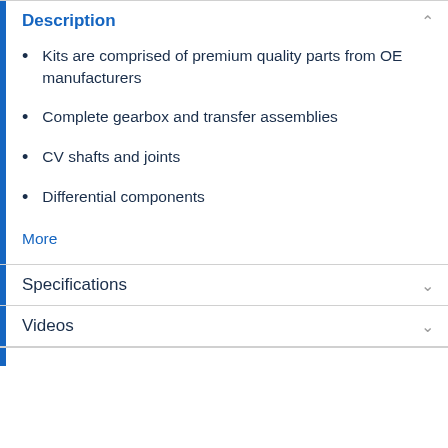Description
Kits are comprised of premium quality parts from OE manufacturers
Complete gearbox and transfer assemblies
CV shafts and joints
Differential components
More
Specifications
Videos